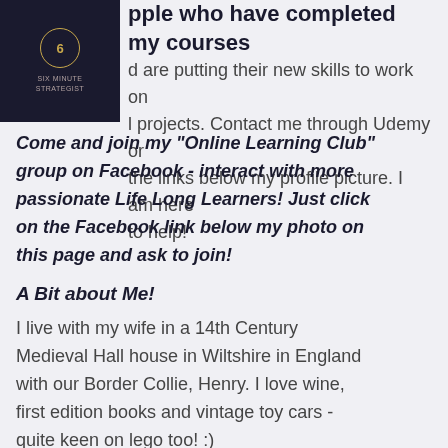[Figure (logo): Six Minute Strategist logo - dark navy square with gold circle containing number 6 and text SIX MINUTE STRATEGIST]
pple who have completed my courses
d are putting their new skills to work on l projects. Contact me through Udemy or the links below my profile picture. I am here to help!
Come and join my "Online Learning Club" group on Facebook - interact with more passionate Life Long Learners! Just click on the Facebook link below my photo on this page and ask to join!
A Bit about Me!
I live with my wife in a 14th Century Medieval Hall house in Wiltshire in England with our Border Collie, Henry. I love wine, first edition books and vintage toy cars - quite keen on lego too! :)